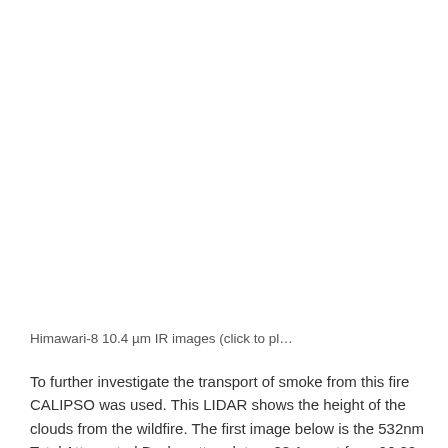[Figure (photo): Large blank/white image area representing Himawari-8 10.4 µm IR satellite images (content not visible in this crop)]
Himawari-8 10.4 µm IR images (click to pl…
To further investigate the transport of smoke from this fire CALIPSO was used. This LIDAR shows the height of the clouds from the wildfire. The first image below is the 532nm Total Attenuated Backscatter plot on 23 August from 06:22 UTC to 06:45 UTC, which is a few